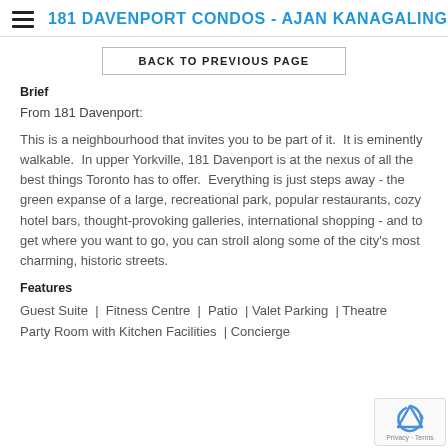181 DAVENPORT CONDOS - AJAN KANAGALINGA
BACK TO PREVIOUS PAGE
Brief
From 181 Davenport:
This is a neighbourhood that invites you to be part of it. It is eminently walkable. In upper Yorkville, 181 Davenport is at the nexus of all the best things Toronto has to offer. Everything is just steps away - the green expanse of a large, recreational park, popular restaurants, cozy hotel bars, thought-provoking galleries, international shopping - and to get where you want to go, you can stroll along some of the city's most charming, historic streets.
Features
Guest Suite | Fitness Centre | Patio | Valet Parking | Theatre | Party Room with Kitchen Facilities | Concierge